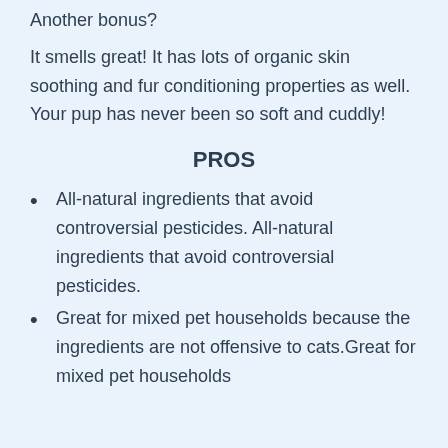Another bonus?
It smells great! It has lots of organic skin soothing and fur conditioning properties as well. Your pup has never been so soft and cuddly!
PROS
All-natural ingredients that avoid controversial pesticides. All-natural ingredients that avoid controversial pesticides.
Great for mixed pet households because the ingredients are not offensive to cats.Great for mixed pet households